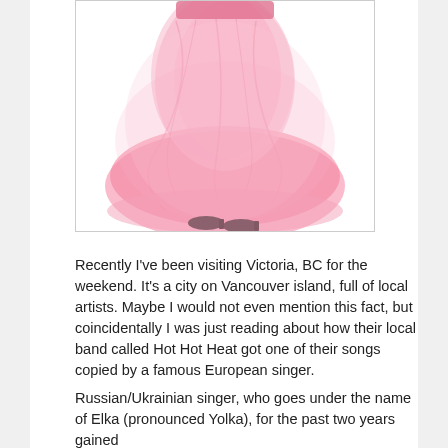[Figure (photo): A person wearing a large pink tulle skirt or dress, shown from approximately the waist down, standing on a white background.]
Recently I've been visiting Victoria, BC for the weekend.  It's a city on Vancouver island, full of local artists.  Maybe I would not even mention this fact, but coincidentally I was just reading about how their local band called Hot Hot Heat got one of their songs copied by a famous European singer.
Russian/Ukrainian singer, who goes under the name of Elka (pronounced Yolka), for the past two years gained enormous popularity in former USSR for her song called “Provence”.  But she is now accused of plagiarism, the chorus of her song is almost identical to the tune from the Hot Hot Heat song called “Shame On You”.